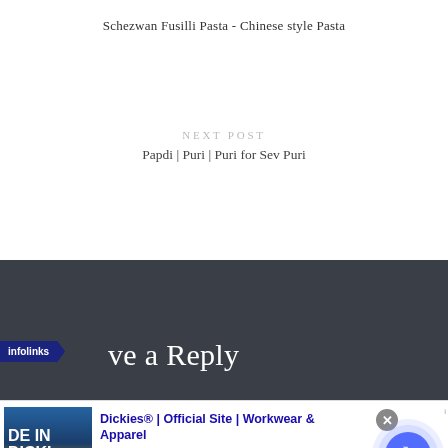Schezwan Fusilli Pasta - Chinese style Pasta
NEXT POST
Papdi | Puri | Puri for Sev Puri
[Figure (screenshot): Dark footer section with infolinks badge and 've a Reply' heading text partially visible]
[Figure (screenshot): Advertisement banner for Dickies Official Site showing workwear and apparel ad with image, title, description, URL, close button and arrow button]